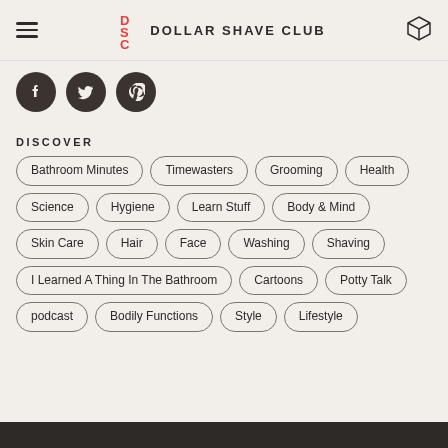Dollar Shave Club
[Figure (logo): Dollar Shave Club logo with DSC letters in red and brand name in dark, plus hamburger menu and box icon]
Facebook, Twitter, Pinterest social icons
DISCOVER
Bathroom Minutes
Timewasters
Grooming
Health
Science
Hygiene
Learn Stuff
Body & Mind
Skin Care
Hair
Face
Washing
Shaving
I Learned A Thing In The Bathroom
Cartoons
Potty Talk
podcast
Bodily Functions
Style
Lifestyle